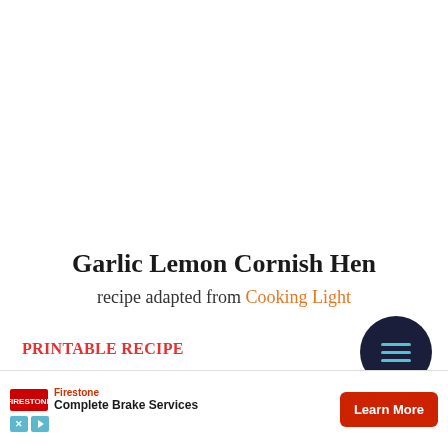Garlic Lemon Cornish Hen
recipe adapted from Cooking Light
PRINTABLE RECIPE
1 clove
1/4 tea
[Figure (other): Advertisement banner for Firestone Complete Brake Services with a Learn More button]